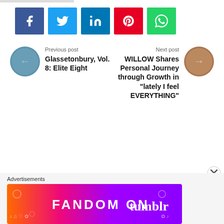[Figure (infographic): Row of social share buttons: Facebook (blue), Twitter (light blue), LinkedIn (dark blue), Pinterest (red), WhatsApp (green)]
Previous post
Glassetonbury, Vol. 8: Elite Eight
Next post
WILLOW Shares Personal Journey through Growth in “lately I feel EVERYTHING”
Advertisements
[Figure (infographic): Fandom on Tumblr advertisement banner with colorful gradient background]